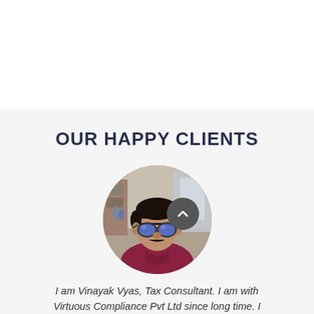OUR HAPPY CLIENTS
[Figure (photo): Circular portrait photo of a man wearing blue aviator sunglasses and a dark red/maroon shirt, in an indoor setting.]
I am Vinayak Vyas, Tax Consultant. I am with Virtuous Compliance Pvt Ltd since long time. I